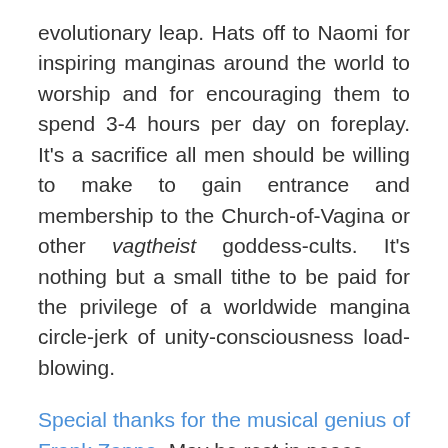evolutionary leap. Hats off to Naomi for inspiring manginas around the world to worship and for encouraging them to spend 3-4 hours per day on foreplay. It's a sacrifice all men should be willing to make to gain entrance and membership to the Church-of-Vagina or other vagtheist goddess-cults. It's nothing but a small tithe to be paid for the privilege of a worldwide mangina circle-jerk of unity-consciousness load-blowing.
Special thanks for the musical genius of Frank Zappa. May he rest in peace.